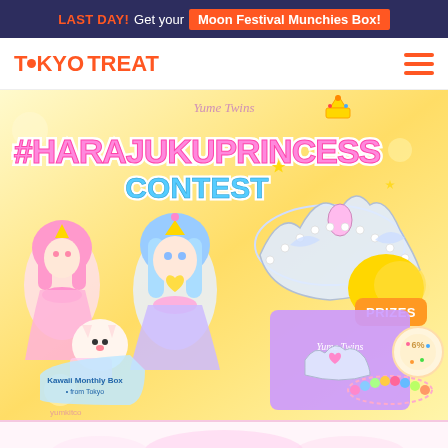LAST DAY! Get your Moon Festival Munchies Box!
[Figure (logo): TokyoTreat logo with orange dot replacing letter O, and hamburger menu icon]
[Figure (illustration): Harajuku Princess Contest promotional banner with anime-style princess characters, tiaras, plush toys, kawaii accessories, and prizes label on yellow gradient background. Text reads: Yume Twins #HARAJUKUPRINCESS CONTEST with PRIZES badge. Bottom left shows Kawaii Monthly Box from Tokyo.]
[Figure (illustration): Partially visible bottom section of another promotional card in pink/white tones]